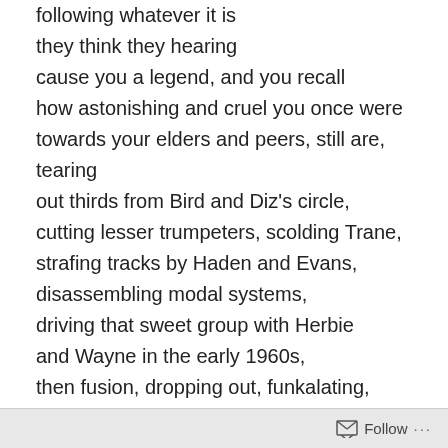following whatever it is
they think they hearing
cause you a legend, and you recall
how astonishing and cruel you once were
towards your elders and peers, still are, tearing
out thirds from Bird and Diz's circle,
cutting lesser trumpeters, scolding Trane,
strafing tracks by Haden and Evans,
disassembling modal systems,
driving that sweet group with Herbie
and Wayne in the early 1960s,
then fusion, dropping out, funkalating, walking in
late, blowing whether you cared or not,
turning your back to the audience
when you felt it, chords
Follow ...